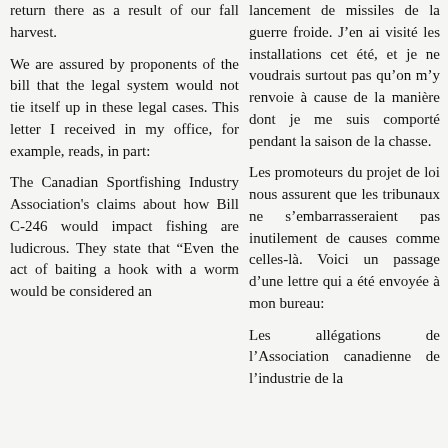return there as a result of our fall harvest.
We are assured by proponents of the bill that the legal system would not tie itself up in these legal cases. This letter I received in my office, for example, reads, in part:
The Canadian Sportfishing Industry Association's claims about how Bill C-246 would impact fishing are ludicrous. They state that “Even the act of baiting a hook with a worm would be considered an
lancement de missiles de la guerre froide. J’en ai visité les installations cet été, et je ne voudrais surtout pas qu’on m’y renvoie à cause de la manière dont je me suis comporté pendant la saison de la chasse.
Les promoteurs du projet de loi nous assurent que les tribunaux ne s’embarrasseraient pas inutilement de causes comme celles-là. Voici un passage d’une lettre qui a été envoyée à mon bureau:
Les allégations de l’Association canadienne de l’industrie de la